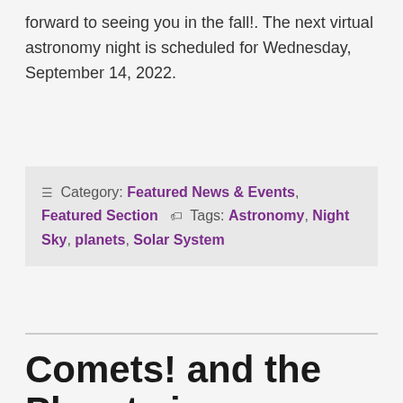forward to seeing you in the fall!. The next virtual astronomy night is scheduled for Wednesday, September 14, 2022.
☰ Category: Featured News & Events, Featured Section  🏷 Tags: Astronomy, Night Sky, planets, Solar System
Comets! and the Planets in September